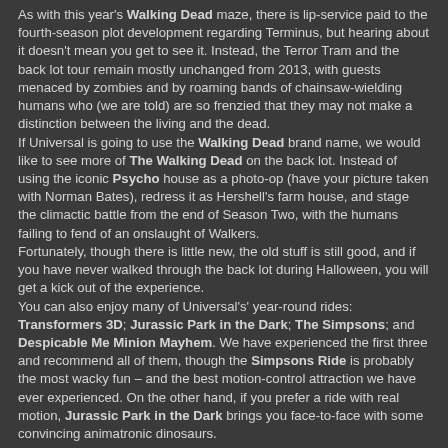As with this year's Walking Dead maze, there is lip-service paid to the fourth-season plot development regarding Terminus, but hearing about it doesn't mean you get to see it. Instead, the Terror Tram and the back lot tour remain mostly unchanged from 2013, with guests menaced by zombies and by roaming bands of chainsaw-wielding humans who (we are told) are so frenzied that they may not make a distinction between the living and the dead. If Universal is going to use the Walking Dead brand name, we would like to see more of The Walking Dead on the back lot. Instead of using the iconic Psycho house as a photo-op (have your picture taken with Norman Bates), redress it as Hershell's farm house, and stage the climactic battle from the end of Season Two, with the humans failing to fend of an onslaught of Walkers. Fortunately, though there is little new, the old stuff is still good, and if you have never walked through the back lot during Halloween, you will get a kick out of the experience. You can also enjoy many of Universal's' year-round rides: Transformers 3D; Jurassic Park in the Dark; The Simpsons; and Despicable Me Minion Mayhem. We have experienced the first three and recommend all of them, though the Simpsons Ride is probably the most wacky fun – and the best motion-control attraction we have ever experienced. On the other hand, if you prefer a ride with real motion, Jurassic Park in the Dark brings you face-to-face with some convincing animatronic dinosaurs.